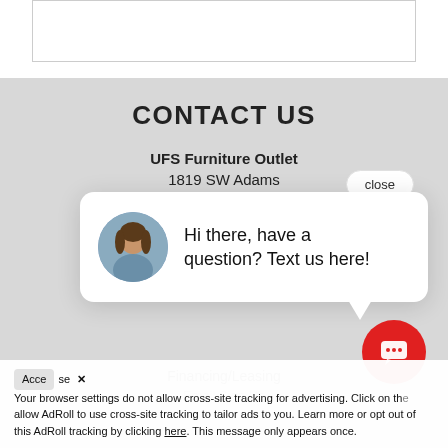[Figure (screenshot): White rectangular box at the top of the page, partially visible]
CONTACT US
UFS Furniture Outlet
1819 SW Adams
Peoria, IL 61602
(309) 673-4503
Financing/Leasing
Email Sign Up
[Figure (screenshot): Chat popup with avatar photo of a woman and text: Hi there, have a question? Text us here!]
close
[Figure (screenshot): Red circular chat button with message icon]
Accept   close ✕
Your browser settings do not allow cross-site tracking for advertising. Click on the link to allow AdRoll to use cross-site tracking to tailor ads to you. Learn more or opt out of this AdRoll tracking by clicking here. This message only appears once.